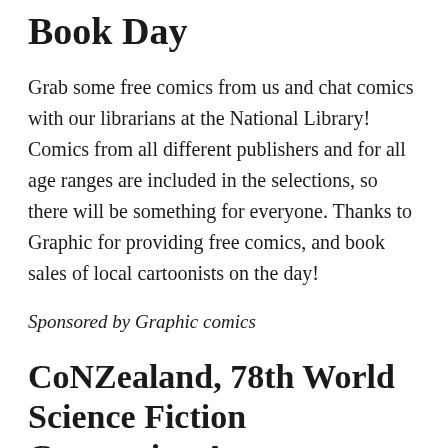Book Day
Grab some free comics from us and chat comics with our librarians at the National Library! Comics from all different publishers and for all age ranges are included in the selections, so there will be something for everyone. Thanks to Graphic for providing free comics, and book sales of local cartoonists on the day!
Sponsored by Graphic comics
CoNZealand, 78th World Science Fiction Convention Area